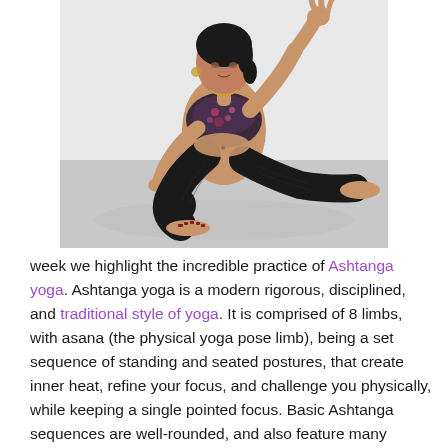[Figure (photo): A woman in yoga attire (floral sports bra, black textured leggings) sitting on a light grey floor in a yoga pose, with one hand raised showing a mudra gesture. Background is a white/grey studio setting.]
week we highlight the incredible practice of Ashtanga yoga. Ashtanga yoga is a modern rigorous, disciplined, and traditional style of yoga. It is comprised of 8 limbs, with asana (the physical yoga pose limb), being a set sequence of standing and seated postures, that create inner heat, refine your focus, and challenge you physically, while keeping a single pointed focus. Basic Ashtanga sequences are well-rounded, and also feature many forward bends, the most inward facing family of